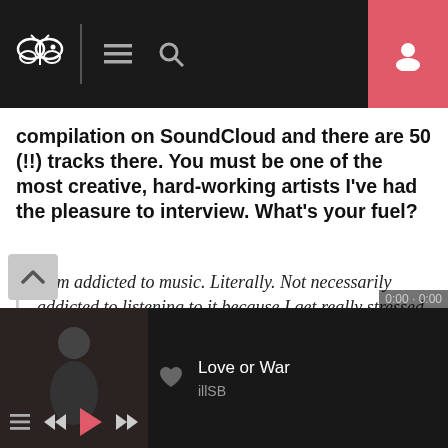[Figure (screenshot): Mobile app navigation bar with logo, hamburger menu, search icon, and user profile button in red]
compilation on SoundCloud and there are 50 (!!) tracks there. You must be one of the most creative, hard-working artists I've had the pleasure to interview. What's your fuel?
I am addicted to music. Literally. Not necessarily addicted to listening to it because I get really stressed both when I hear something I don't like and when I hear something that blows my mind.
I can't handle either of those intense emotions very well so I shy away from listening to music
[Figure (screenshot): Music player bar at bottom showing Love or War by illSB with playback controls]